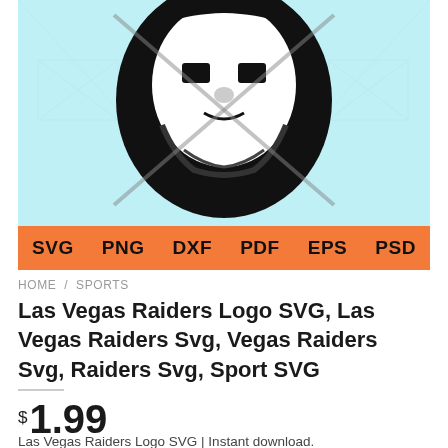[Figure (illustration): Las Vegas Raiders logo (pirate face with shield) on light blue background with orange format bar showing SVG PNG DXF PDF EPS PSD]
HOME / SPORTS
Las Vegas Raiders Logo SVG, Las Vegas Raiders Svg, Vegas Raiders Svg, Raiders Svg, Sport SVG
$ 1.99
Las Vegas Raiders Logo SVG | Instant download.